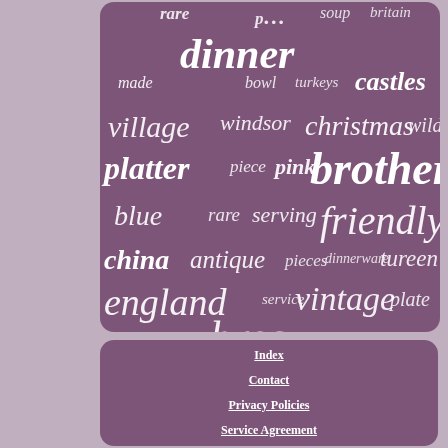[Figure (infographic): Word cloud on purple background featuring words related to dinnerware/pottery: dinner, brothers, friendly, england, vintage, bros, platter, village, christmas, china, antique, windsor, blue, pink, rare, serving, piece, pieces, dinnerware, tureen, plate, service, bowl, turkeys, castles, wild, made]
Index
Contact
Privacy Policies
Service Agreement